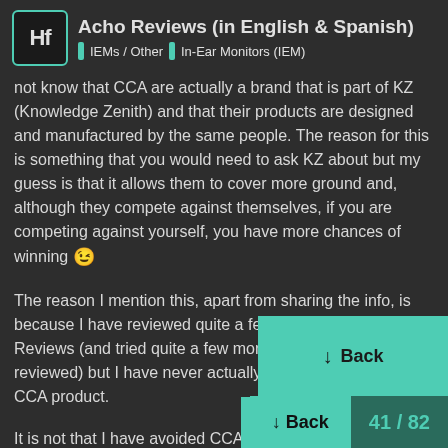Acho Reviews (in English & Spanish) | IEMs / Other | In-Ear Monitors (IEM)
not know that CCA are actually a brand that is part of KZ (Knowledge Zenith) and that their products are designed and manufactured by the same people. The reason for this is something that you would need to ask KZ about but my guess is that it allows them to cover more ground and, although they compete against themselves, if you are competing against yourself, you have more chances of winning 😉
The reason I mention this, apart from sharing the info, is because I have reviewed quite a few KZ IEMs on Acho Reviews (and tried quite a few more that I haven't reviewed) but I have never actually reviewed, or tried, a CCA product.
It is not that I have avoided CCA for any spe... it's just that models sent to me for review have, coincidently, all been KZ and the model... purchased (which have been more than...